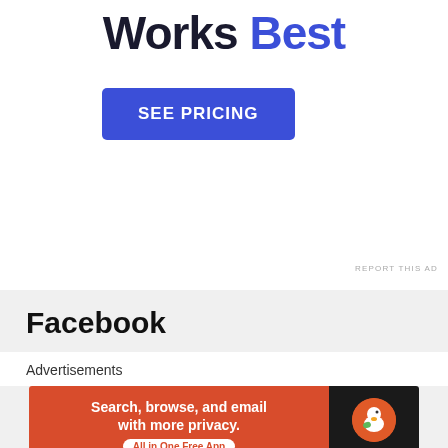Works Best
[Figure (other): Blue 'SEE PRICING' call-to-action button]
REPORT THIS AD
Facebook
Advertisements
[Figure (infographic): DuckDuckGo advertisement banner: 'Search, browse, and email with more privacy. All in One Free App' with DuckDuckGo duck logo on dark background]
[Figure (other): Close/dismiss button (X circle)]
REPORT THIS AD